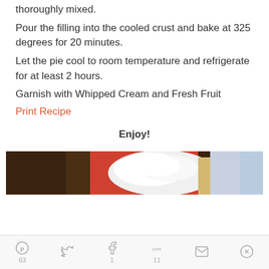thoroughly mixed.
Pour the filling into the cooled crust and bake at 325 degrees for 20 minutes.
Let the pie cool to room temperature and refrigerate for at least 2 hours.
Garnish with Whipped Cream and Fresh Fruit
Print Recipe
Enjoy!
[Figure (photo): Top portion of a pie with whipped cream topping on a red plate, with yellow/cream filling visible and light blue background.]
Pinterest 63 | Twitter | Facebook 1 | Yum 11 | Email | Other